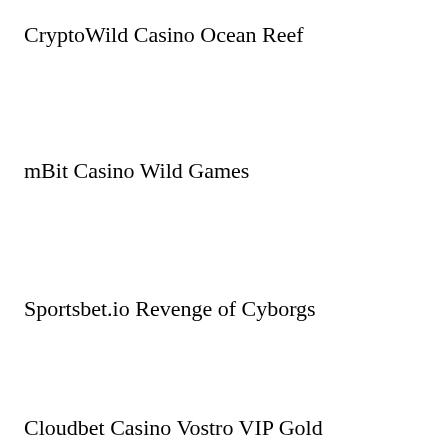CryptoWild Casino Ocean Reef
mBit Casino Wild Games
Sportsbet.io Revenge of Cyborgs
Cloudbet Casino Vostro VIP Gold